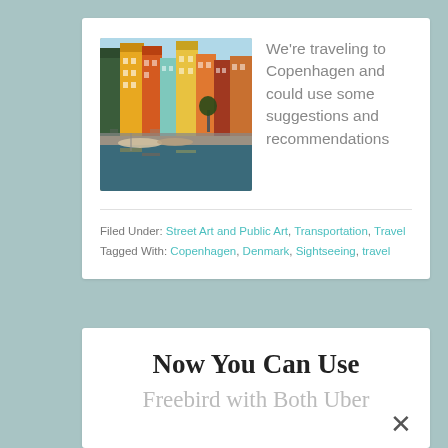[Figure (photo): Photo of colorful buildings along a waterfront canal in Copenhagen (Nyhavn)]
We're traveling to Copenhagen and could use some suggestions and recommendations
Filed Under: Street Art and Public Art, Transportation, Travel
Tagged With: Copenhagen, Denmark, Sightseeing, travel
Now You Can Use Freebird with Both Uber